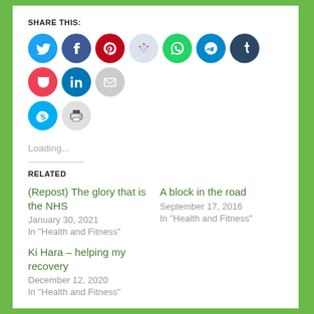SHARE THIS:
[Figure (infographic): Row of social media sharing icon circles: Twitter (blue), Facebook (dark blue), Pinterest (red), Reddit (light blue/grey), WhatsApp (green), Telegram (blue), Tumblr (dark navy), Pocket (red), LinkedIn (blue), Email (grey), Skype (blue), Print (grey)]
Loading...
RELATED
(Repost) The glory that is the NHS
January 30, 2021
In "Health and Fitness"
A block in the road
September 17, 2016
In "Health and Fitness"
Ki Hara – helping my recovery
December 12, 2020
In "Health and Fitness"